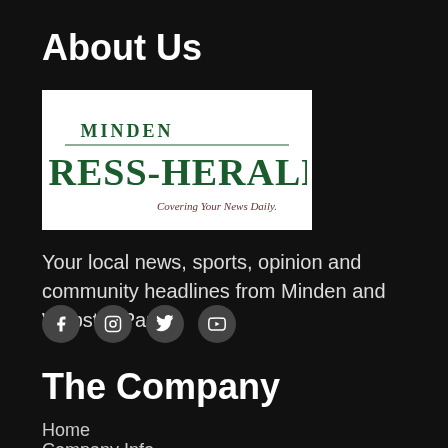About Us
[Figure (logo): Minden Press-Herald logo — dark green text reading 'MINDEN PRESS-HERALD' with tagline 'Covering Your News Daily.' on white background]
Your local news, sports, opinion and community headlines from Minden and Webster Parish.
[Figure (infographic): Social media icons: Facebook, Instagram, Twitter/X, YouTube — each in a dark circular button]
The Company
Home
Company Info